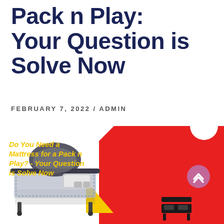Pack n Play: Your Question is Solve Now
FEBRUARY 7, 2022 / ADMIN
[Figure (photo): Composite image showing a Pack n Play baby playard on the left, a red banner shape with yellow and black text reading 'Do You Need a Mattress for a Pack n Play? - Your Question is Solve Now', a yellow triangle accent, a scroll-up button, and a bed icon at the bottom right.]